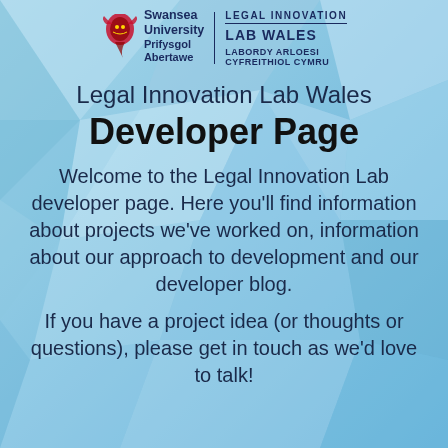[Figure (logo): Swansea University and Legal Innovation Lab Wales logo header]
Legal Innovation Lab Wales Developer Page
Welcome to the Legal Innovation Lab developer page. Here you'll find information about projects we've worked on, information about our approach to development and our developer blog.
If you have a project idea (or thoughts or questions), please get in touch as we'd love to talk!